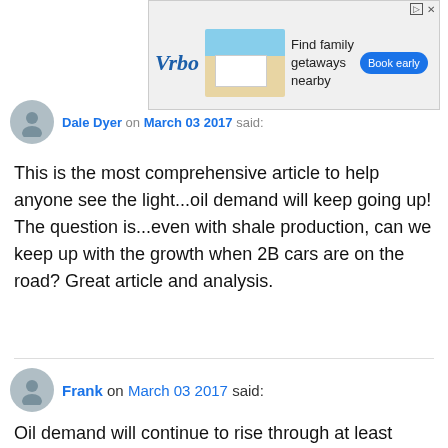[Figure (other): Vrbo advertisement banner with beach house photo, text 'Find family getaways nearby', and 'Book early' button]
Dale Dyer on March 03 2017 said:
This is the most comprehensive article to help anyone see the light...oil demand will keep going up! The question is...even with shale production, can we keep up with the growth when 2B cars are on the road? Great article and analysis.
Frank on March 03 2017 said:
Oil demand will continue to rise through at least 2023 and then commence it's inevitable death spiral as EVs take over and renewables flood the market with essentially free fuel. Everyone knows this.